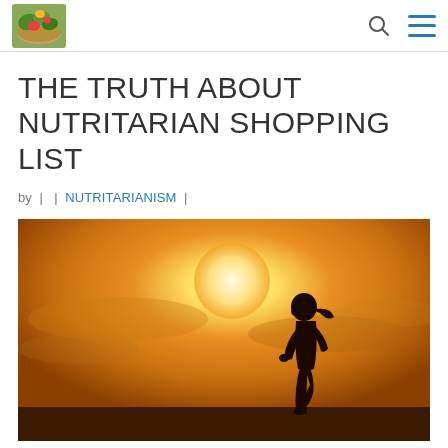[Logo: vegetable/salad bowl image] [Search icon] [Menu icon]
THE TRUTH ABOUT NUTRITARIAN SHOPPING LIST
by |  | NUTRITARIANISM |
[Figure (photo): Silhouette of a woman running against a bright sunset background with orange and golden sky tones]